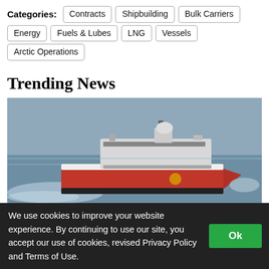Categories: Contracts  Shipbuilding  Bulk Carriers  Energy  Fuels & Lubes  LNG  Vessels  Arctic Operations
Trending News
[Figure (photo): Aerial photograph of a large red and white research/survey vessel underway at sea, creating a wake.]
We use cookies to improve your website experience. By continuing to use our site, you accept our use of cookies, revised Privacy Policy and Terms of Use.